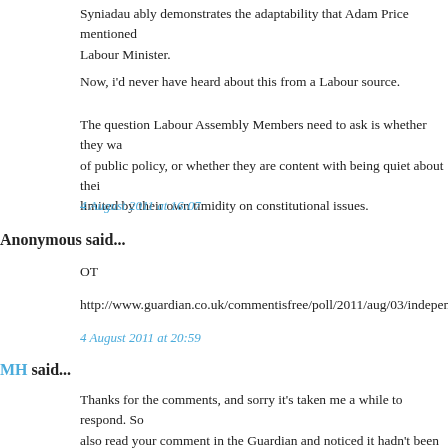Syniadau ably demonstrates the adaptability that Adam Price mentioned... Labour Minister.
Now, i'd never have heard about this from a Labour source.
The question Labour Assembly Members need to ask is whether they wa... limited by their own timidity on constitutional issues.
4 August 2011 at 16:07
Anonymous said...
OT
http://www.guardian.co.uk/commentisfree/poll/2011/aug/03/independen...
4 August 2011 at 20:59
MH said...
Thanks for the comments, and sorry it's taken me a while to respond. So... also read your comment in the Guardian and noticed it hadn't been picke... appear that the most English readers simply don't what to learn how to c... complain at how bad things are.
Perhaps that's another metaphor. That the people who made these decisi... about how to deliver a better system, they thought that they just had...